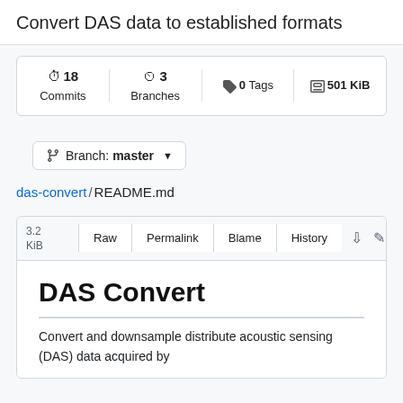Convert DAS data to established formats
[Figure (screenshot): GitHub repository stats bar showing 18 Commits, 3 Branches, 0 Tags, 501 KiB]
[Figure (screenshot): Branch selector button showing 'Branch: master' with dropdown arrow]
das-convert / README.md
[Figure (screenshot): File toolbar showing 3.2 KiB size, Raw, Permalink, Blame, History buttons, and download/edit/delete icons]
DAS Convert
Convert and downsample distribute acoustic sensing (DAS) data acquired by